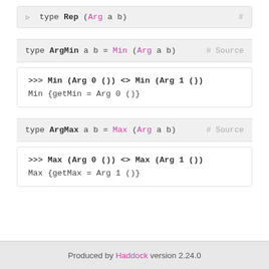▷  type Rep (Arg a b)   #
type ArgMin a b = Min (Arg a b)   # Source
>>> Min (Arg 0 ()) <> Min (Arg 1 ())
Min {getMin = Arg 0 ()}
type ArgMax a b = Max (Arg a b)   # Source
>>> Max (Arg 0 ()) <> Max (Arg 1 ())
Max {getMax = Arg 1 ()}
Produced by Haddock version 2.24.0